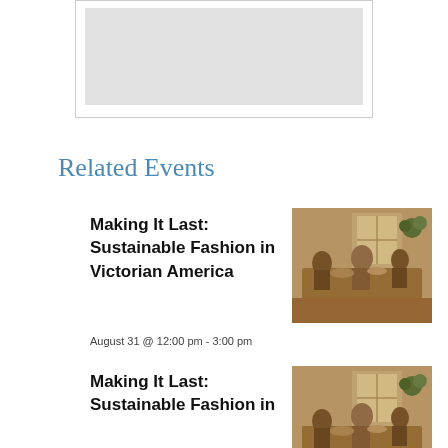[Figure (photo): Gray placeholder image box at top of page]
Related Events
Making It Last: Sustainable Fashion in Victorian America
August 31 @ 12:00 pm - 3:00 pm
[Figure (photo): Sepia-toned historical photograph showing people seated around a table in a Victorian-era room with a window]
Making It Last: Sustainable Fashion in
[Figure (photo): Sepia-toned historical photograph showing people seated around a table in a Victorian-era room with a window (duplicate)]